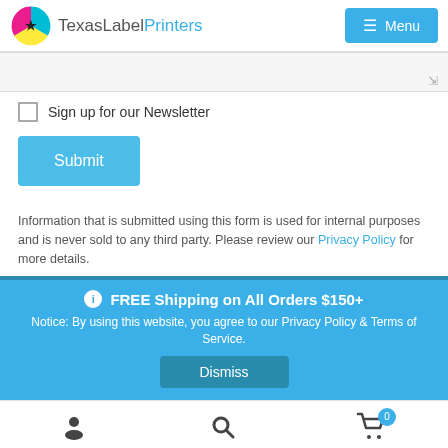TexasLabelPrinters Menu
[Figure (screenshot): Textarea input field with resize handle at bottom-right]
Sign up for our Newsletter (checkbox)
[Figure (screenshot): Submit button (blue rounded rectangle)]
Information that is submitted using this form is used for internal purposes and is never sold to any third party. Please review our Privacy Policy for more details.
FREE Shipping on All Orders $150+
Notice: By using this website, you agree to our Privacy Policy & Terms of Service.
[Figure (screenshot): Dismiss button in blue banner]
User icon, Search icon, Cart icon with badge 0